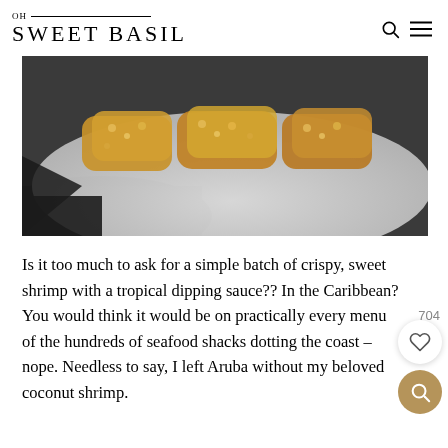OH SWEET BASIL
[Figure (photo): Close-up photo of crispy coconut shrimp on a white plate against a dark background]
Is it too much to ask for a simple batch of crispy, sweet shrimp with a tropical dipping sauce?? In the Caribbean? You would think it would be on practically every menu of the hundreds of seafood shacks dotting the coast – nope. Needless to say, I left Aruba without my beloved coconut shrimp.